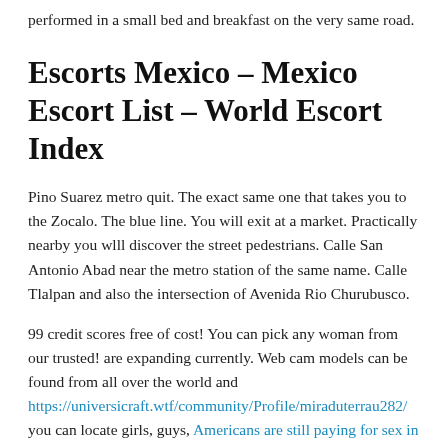performed in a small bed and breakfast on the very same road.
Escorts Mexico – Mexico Escort List – World Escort Index
Pino Suarez metro quit. The exact same one that takes you to the Zocalo. The blue line. You will exit at a market. Practically nearby you wlll discover the street pedestrians. Calle San Antonio Abad near the metro station of the same name. Calle Tlalpan and also the intersection of Avenida Rio Churubusco.
99 credit scores free of cost! You can pick any woman from our trusted! are expanding currently. Web cam models can be found from all over the world and https://universicraft.wtf/community/Profile/miraduterrau282/ you can locate girls, guys, Americans are still paying for sex in Mexico (truncated)